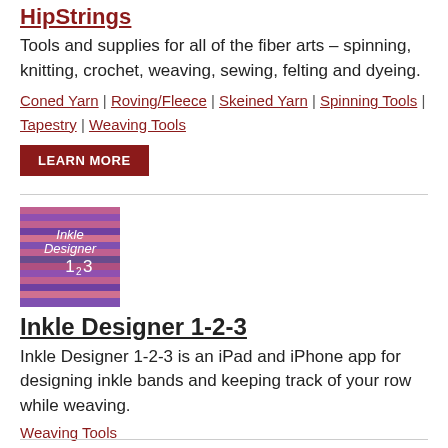HipStrings
Tools and supplies for all of the fiber arts – spinning, knitting, crochet, weaving, sewing, felting and dyeing.
Coned Yarn | Roving/Fleece | Skeined Yarn | Spinning Tools | Tapestry | Weaving Tools
LEARN MORE
[Figure (illustration): Inkle Designer 1-2-3 app icon with purple/pink striped pattern]
Inkle Designer 1-2-3
Inkle Designer 1-2-3 is an iPad and iPhone app for designing inkle bands and keeping track of your row while weaving.
Weaving Tools
LEARN MORE